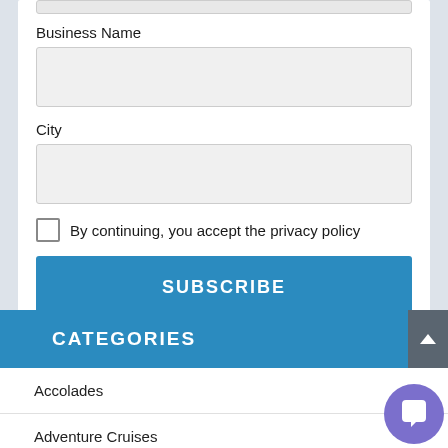Business Name
City
By continuing, you accept the privacy policy
SUBSCRIBE
CATEGORIES
Accolades
Adventure Cruises
Agents Incentives